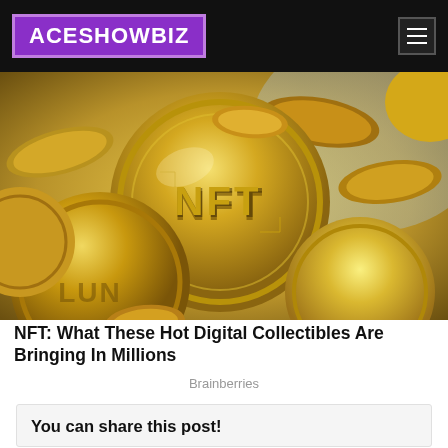ACESHOWBIZ
[Figure (photo): Pile of shiny gold coins with 'NFT' engraved on them, cryptocurrency collectibles concept]
NFT: What These Hot Digital Collectibles Are Bringing In Millions
Brainberries
You can share this post!